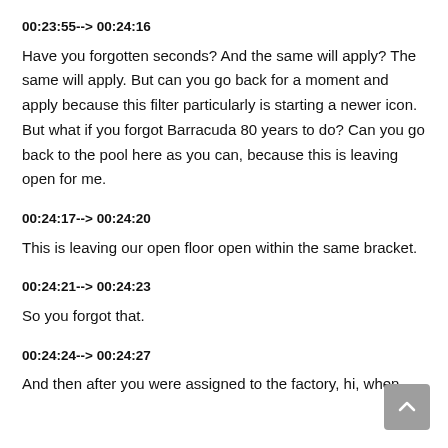00:23:55--> 00:24:16
Have you forgotten seconds? And the same will apply? The same will apply. But can you go back for a moment and apply because this filter particularly is starting a newer icon. But what if you forgot Barracuda 80 years to do? Can you go back to the pool here as you can, because this is leaving open for me.
00:24:17--> 00:24:20
This is leaving our open floor open within the same bracket.
00:24:21--> 00:24:23
So you forgot that.
00:24:24--> 00:24:27
And then after you were assigned to the factory, hi, when